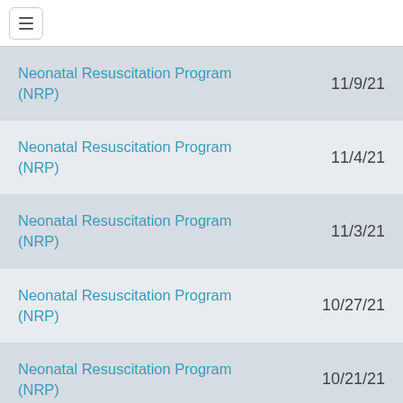Neonatal Resuscitation Program (NRP) — 11/9/21
Neonatal Resuscitation Program (NRP) — 11/4/21
Neonatal Resuscitation Program (NRP) — 11/3/21
Neonatal Resuscitation Program (NRP) — 10/27/21
Neonatal Resuscitation Program (NRP) — 10/21/21
Neonatal Resuscitation Program (NRP) — 10/13/21